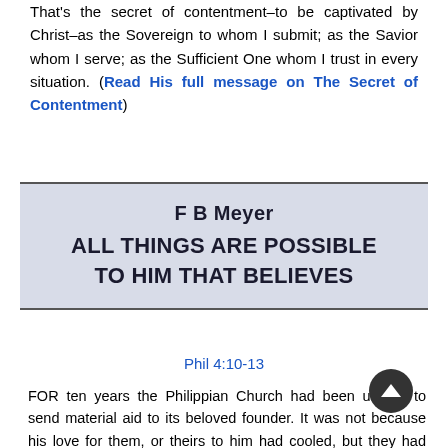That's the secret of contentment–to be captivated by Christ–as the Sovereign to whom I submit; as the Savior whom I serve; as the Sufficient One whom I trust in every situation. (Read His full message on The Secret of Contentment)
F B Meyer
ALL THINGS ARE POSSIBLE TO HIM THAT BELIEVES
Phil 4:10-13
FOR ten years the Philippian Church had been unable to send material aid to its beloved founder. It was not because his love for them, or theirs to him had cooled, but they had lacked opportunity. Previously, his friends had contributed,